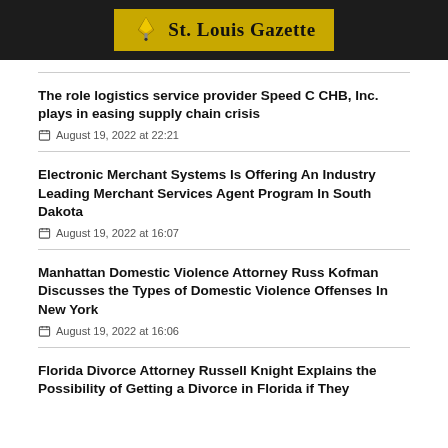St. Louis Gazette
The role logistics service provider Speed C CHB, Inc. plays in easing supply chain crisis
August 19, 2022 at 22:21
Electronic Merchant Systems Is Offering An Industry Leading Merchant Services Agent Program In South Dakota
August 19, 2022 at 16:07
Manhattan Domestic Violence Attorney Russ Kofman Discusses the Types of Domestic Violence Offenses In New York
August 19, 2022 at 16:06
Florida Divorce Attorney Russell Knight Explains the Possibility of Getting a Divorce in Florida if They